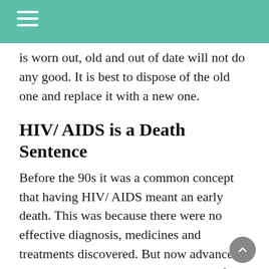is worn out, old and out of date will not do any good. It is best to dispose of the old one and replace it with a new one.
HIV/ AIDS is a Death Sentence
Before the 90s it was a common concept that having HIV/ AIDS meant an early death. This was because there were no effective diagnosis, medicines and treatments discovered. But now advanced technologies have made it convenient for scientists and doctors to diagnose with Online STIs test and improved medicines to reduce the influence